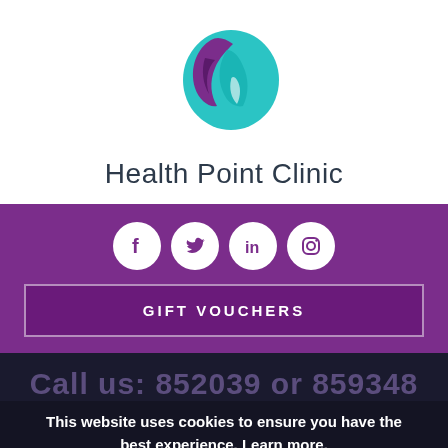[Figure (logo): Health Point Clinic logo — two leaf/flame shapes in purple and teal forming a circle]
Health Point Clinic
[Figure (infographic): Purple banner with four white social media icons: Facebook, Twitter, LinkedIn, Instagram]
GIFT VOUCHERS
Call us: 852039 or 859348
This website uses cookies to ensure you have the best experience. Learn more.
BOOK AN APPO...
CONTINUE
Enter your term here